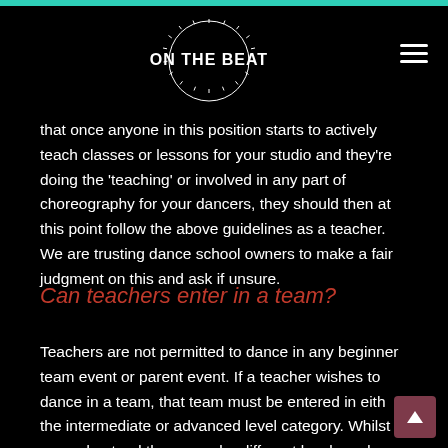[Figure (logo): On The Beat logo — circular text design with 'ON THE BEAT' in white bold text on black background]
that once anyone in this position starts to actively teach classes or lessons for your studio and they're doing the 'teaching' or involved in any part of choreography for your dancers, they should then at this point follow the above guidelines as a teacher. We are trusting dance school owners to make a fair judgment on this and ask if unsure.
Can teachers enter in a team?
Teachers are not permitted to dance in any beginner team event or parent event. If a teacher wishes to dance in a team, that team must be entered in eith the intermediate or advanced level category. Whilst we understand there may be different levels and